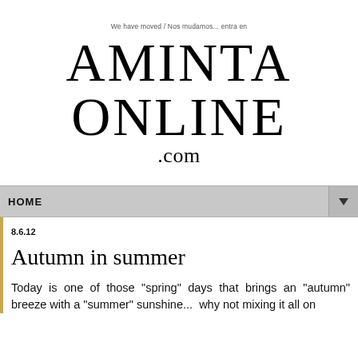We have moved / Nos mudamos... entra en
AMINTA ONLINE .com
HOME
8.6.12
Autumn in summer
Today is one of those "spring" days that brings an "autumn" breeze with a "summer" sunshine...  why not mixing it all on